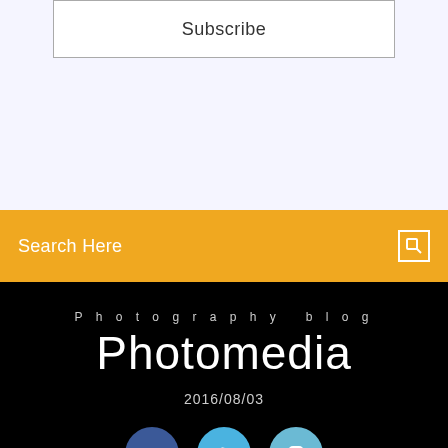Subscribe
Search Here
Photography blog
Photomedia
2016/08/03
[Figure (illustration): Three social media icon buttons: Facebook (dark blue), Twitter (light blue), Instagram (teal/light blue), shown as circular buttons with white icons, partially cropped at bottom of page.]